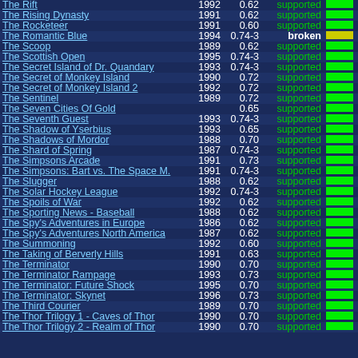| Name | Year | Version | Status | Bar |
| --- | --- | --- | --- | --- |
| The Rift | 1992 | 0.62 | supported | green |
| The Rising Dynasty | 1991 | 0.62 | supported | green |
| The Rocketeer | 1991 | 0.60 | supported | green |
| The Romantic Blue | 1994 | 0.74-3 | broken | yellow |
| The Scoop | 1989 | 0.62 | supported | green |
| The Scottish Open | 1995 | 0.74-3 | supported | green |
| The Secret Island of Dr. Quandary | 1993 | 0.74-3 | supported | green |
| The Secret of Monkey Island | 1990 | 0.72 | supported | green |
| The Secret of Monkey Island 2 | 1992 | 0.72 | supported | green |
| The Sentinel | 1989 | 0.72 | supported | green |
| The Seven Cities Of Gold |  | 0.65 | supported | green |
| The Seventh Guest | 1993 | 0.74-3 | supported | green |
| The Shadow of Yserbius | 1993 | 0.65 | supported | green |
| The Shadows of Mordor | 1988 | 0.70 | supported | green |
| The Shard of Spring | 1987 | 0.74-3 | supported | green |
| The Simpsons Arcade | 1991 | 0.73 | supported | green |
| The Simpsons: Bart vs. The Space M. | 1991 | 0.74-3 | supported | green |
| The Slugger | 1988 | 0.62 | supported | green |
| The Solar Hockey League | 1992 | 0.74-3 | supported | green |
| The Spoils of War | 1992 | 0.62 | supported | green |
| The Sporting News - Baseball | 1988 | 0.62 | supported | green |
| The Spy's Adventures in Europe | 1986 | 0.62 | supported | green |
| The Spy's Adventures North America | 1987 | 0.62 | supported | green |
| The Summoning | 1992 | 0.60 | supported | green |
| The Taking of Berverly Hills | 1991 | 0.63 | supported | green |
| The Terminator | 1990 | 0.70 | supported | green |
| The Terminator Rampage | 1993 | 0.73 | supported | green |
| The Terminator: Future Shock | 1995 | 0.70 | supported | green |
| The Terminator: Skynet | 1996 | 0.73 | supported | green |
| The Third Courier | 1989 | 0.70 | supported | green |
| The Thor Trilogy 1 - Caves of Thor | 1990 | 0.70 | supported | green |
| The Thor Trilogy 2 - Realm of Thor | 1990 | 0.70 | supported | green |